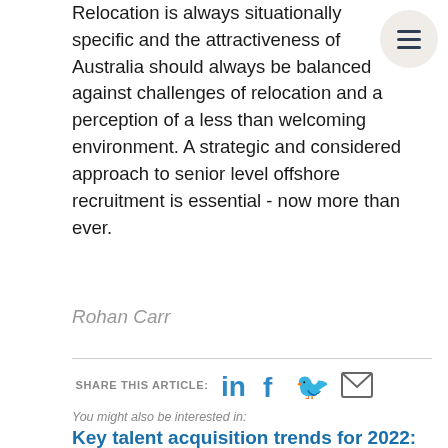Relocation is always situationally specific and the attractiveness of Australia should always be balanced against challenges of relocation and a perception of a less than welcoming environment. A strategic and considered approach to senior level offshore recruitment is essential - now more than ever.
Rohan Carr
SHARE THIS ARTICLE:
You might also be interested in:
Key talent acquisition trends for 2022: perspectives from the US